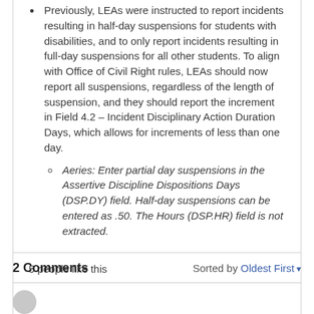Previously, LEAs were instructed to report incidents resulting in half-day suspensions for students with disabilities, and to only report incidents resulting in full-day suspensions for all other students. To align with Office of Civil Right rules, LEAs should now report all suspensions, regardless of the length of suspension, and they should report the increment in Field 4.2 – Incident Disciplinary Action Duration Days, which allows for increments of less than one day.
Aeries: Enter partial day suspensions in the Assertive Discipline Dispositions Days (DSP.DY) field. Half-day suspensions can be entered as .50. The Hours (DSP.HR) field is not extracted.
5 people like this
2 Comments
Sorted by Oldest First